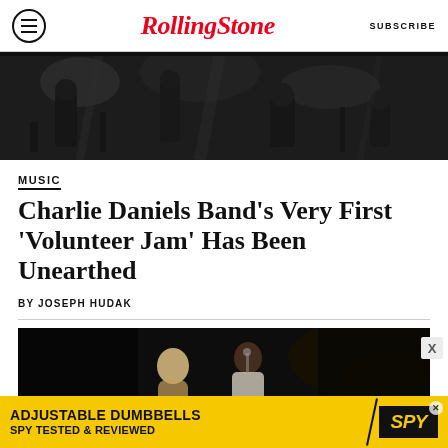Rolling Stone | SUBSCRIBE
[Figure (photo): Black and white concert photo showing band members performing on stage]
MUSIC
Charlie Daniels Band's Very First 'Volunteer Jam' Has Been Unearthed
BY JOSEPH HUDAK
[Figure (photo): Dark concert or music video photo showing two performers on stage]
[Figure (other): Advertisement banner: ADJUSTABLE DUMBBELLS SPY TESTED & REVIEWED with SPY logo]